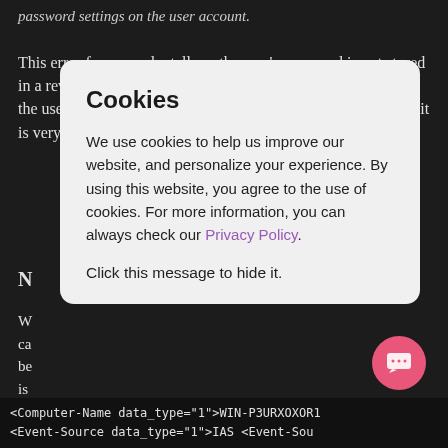password settings on the user account.
This error for example, tells us the user's password is not stored in a reversibly encrypted format, which we can then check in the user's account. If the user already has the support checked, it is very likely the password wasn't reset af
N
W
ca
be
is
[Figure (screenshot): Cookie consent modal dialog overlaying dark background content. Title: 'Cookies'. Body text: 'We use cookies to help us improve our website, and personalize your experience. By using this website, you agree to the use of cookies. For more information, you can always check our Privacy Policy.' Footer: 'Click this message to hide it.']
<Computer-Name data_type="1">WIN-P3URXOXOR1
<Event-Source data_type="1">IAS <Event-Sou